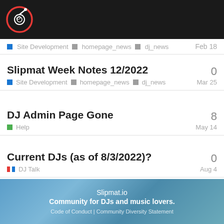Slipmat.io logo
Site Development  homepage_news  dj_news    Feb 18
Slipmat Week Notes 12/2022  0  Site Development  homepage_news  dj_news  Mar 25
DJ Admin Page Gone  8  Help  May 14
Current DJs (as of 8/3/2022)?  0  DJ Talk  Aug 4
Want to read more? Browse other topics in Release Notes or view latest topics.
Slipmat.io
Community for DJs and music lovers.
Code of Conduct | Community Diversity Statement